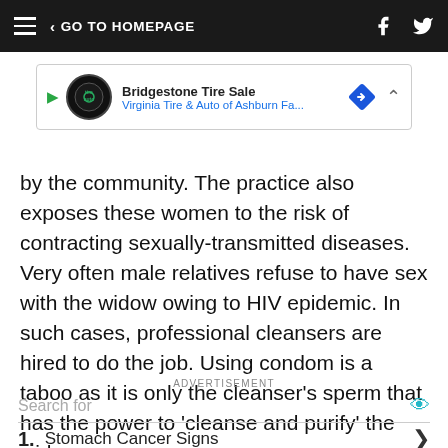GO TO HOMEPAGE
[Figure (other): Advertisement banner: Bridgestone Tire Sale, Virginia Tire & Auto of Ashburn Fa...]
by the community. The practice also exposes these women to the risk of contracting sexually-transmitted diseases. Very often male relatives refuse to have sex with the widow owing to HIV epidemic. In such cases, professional cleansers are hired to do the job. Using condom is a taboo as it is only the cleanser's sperm that has the power to 'cleanse and purify' the widow.
ADVERTISEMENT
Search for
1. Stomach Cancer Signs